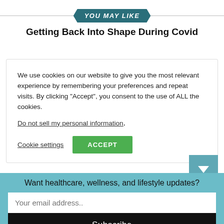YOU MAY LIKE
Getting Back Into Shape During Covid
We use cookies on our website to give you the most relevant experience by remembering your preferences and repeat visits. By clicking “Accept”, you consent to the use of ALL the cookies.
Do not sell my personal information.
Cookie settings  ACCEPT
Want healthcare, wellness, and lifestyle updates?
Your email address..
Subscribe